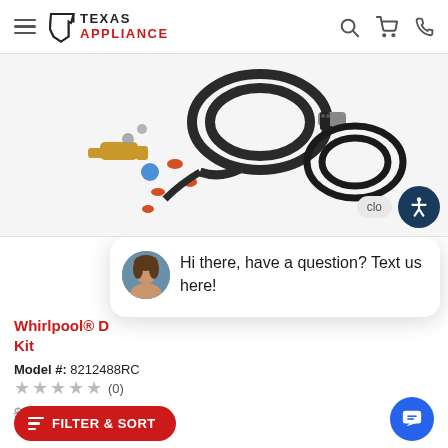[Figure (logo): Texas Appliance logo with Texas state outline and red/black text]
[Figure (photo): Product photo of Whirlpool dryer installation kit with gas hose, power cord, and fittings on white background]
Hi there, have a question? Text us here!
Whirlpool® Dryer Installation Kit
Model #: 8212488RC
(0)
$47.99  Save $1.44